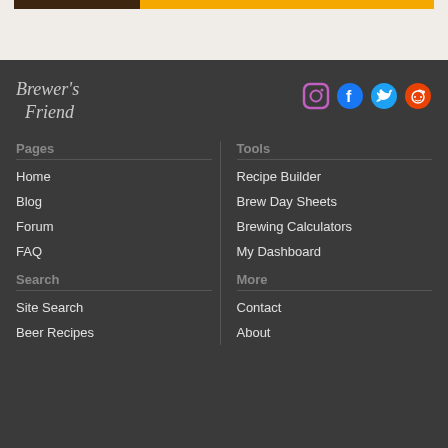[Figure (screenshot): Top ad banner strip with dark and orange/yellow sections]
[Figure (logo): Brewer's Friend logo in italic serif text]
[Figure (other): Social media icons: Instagram, Facebook, Twitter, Reddit]
Pages
Home
Blog
Forum
FAQ
Tools
Recipe Builder
Brew Day Sheets
Brewing Calculators
My Dashboard
Search
Site Search
Beer Recipes
More
Contact
About